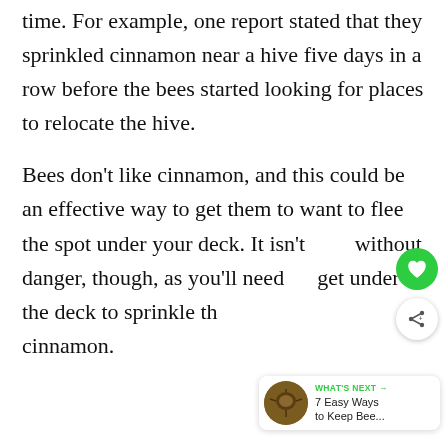time. For example, one report stated that they sprinkled cinnamon near a hive five days in a row before the bees started looking for places to relocate the hive.
Bees don't like cinnamon, and this could be an effective way to get them to want to flee the spot under your deck. It isn't without danger, though, as you'll need to get under the deck to sprinkle the cinnamon.